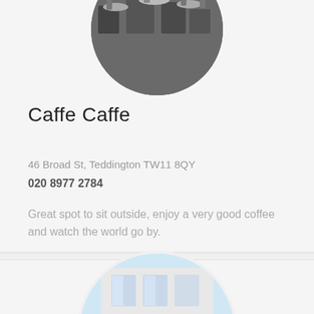[Figure (photo): Circular cropped photo of a café exterior with chairs and tables, partially visible at top of card]
Caffe Caffe
46 Broad St, Teddington TW11 8QY
020 8977 2784
Great spot to sit outside, enjoy a very good coffee and watch the world go by.
[Figure (photo): Circular cropped photo showing a blue storefront with 'MIMMO' text, partially visible at bottom of page]